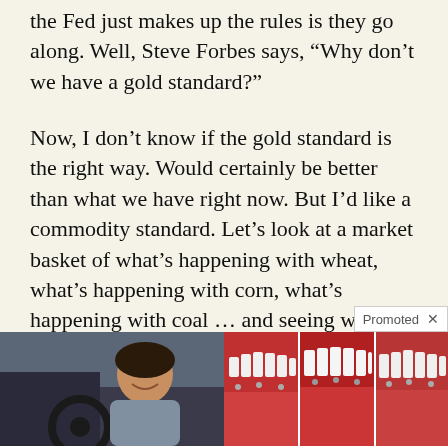the Fed just makes up the rules is they go along. Well, Steve Forbes says, “Why don’t we have a gold standard?”
Now, I don’t know if the gold standard is the right way. Would certainly be better than what we have right now. But I’d like a commodity standard. Let’s look at a market basket of what’s happening with wheat, what’s happening with corn, what’s happening with coal … and seeing w
[Figure (photo): Woman smiling while driving a car]
Vehicle Protection Plan For Every Budget
[Figure (photo): Three panels showing dental implants in mouths]
Here’s What Same-Day Dental Implants Should Cost
7,902